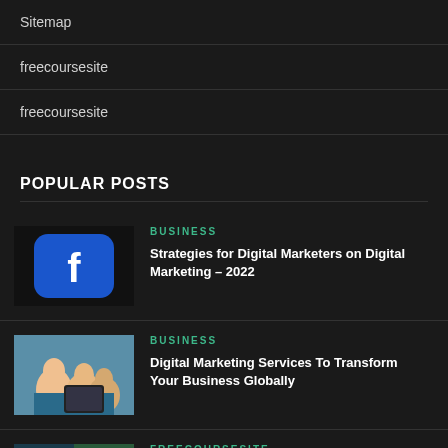Sitemap
freecoursesite
freecoursesite
POPULAR POSTS
[Figure (photo): Blue Facebook app icon on a wall]
BUSINESS
Strategies for Digital Marketers on Digital Marketing – 2022
[Figure (photo): Group of students looking at a laptop]
BUSINESS
Digital Marketing Services To Transform Your Business Globally
[Figure (photo): Partial image with dark green tones]
FREECOURSESITE